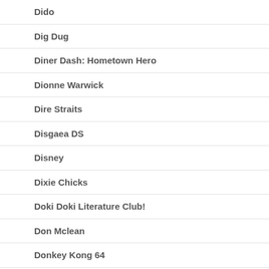Dido
Dig Dug
Diner Dash: Hometown Hero
Dionne Warwick
Dire Straits
Disgaea DS
Disney
Dixie Chicks
Doki Doki Literature Club!
Don Mclean
Donkey Kong 64